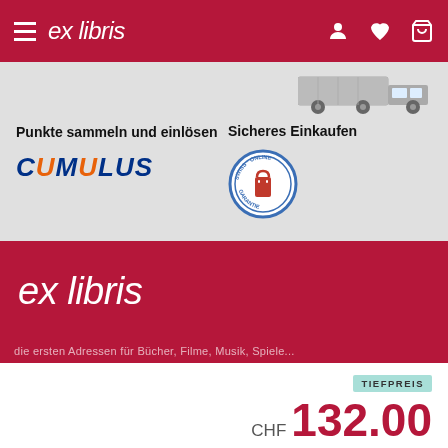ex libris
Punkte sammeln und einlösen
[Figure (logo): CUMULUS logo in blue and orange italic bold text]
Sicheres Einkaufen
[Figure (logo): Swiss Online Garantie seal badge circle]
[Figure (logo): ex libris logo in white italic text on red background]
TIEFPREIS
CHF 132.00
In den Warenkorb